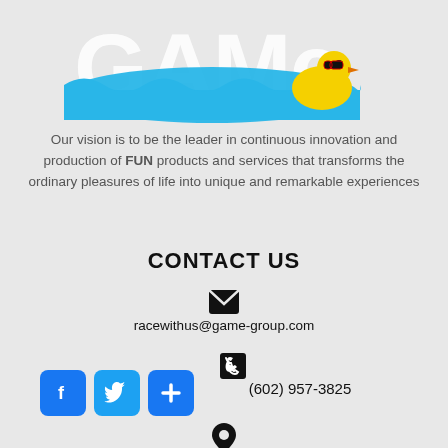[Figure (logo): GAME group logo with rubber duck wearing sunglasses and blue wave/water element]
Our vision is to be the leader in continuous innovation and production of FUN products and services that transforms the ordinary pleasures of life into unique and remarkable experiences
CONTACT US
[Figure (infographic): Email envelope icon]
racewithus@game-group.com
[Figure (infographic): Phone handset icon]
(602) 957-3825
[Figure (infographic): Social media buttons: Facebook, Twitter, and Plus/share icons in blue rounded squares]
[Figure (infographic): Location/map pin icon]